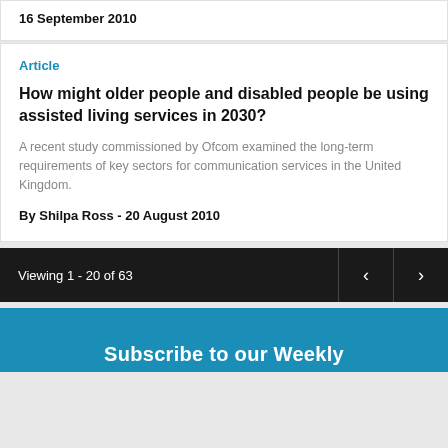16 September 2010
Article
How might older people and disabled people be using assisted living services in 2030?
A recent study commissioned by Ofcom examined the long-term requirements of key sectors for communication services in the United Kingdom.
By Shilpa Ross - 20 August 2010
Viewing 1 - 20 of 63
Subscribe to our Weekly